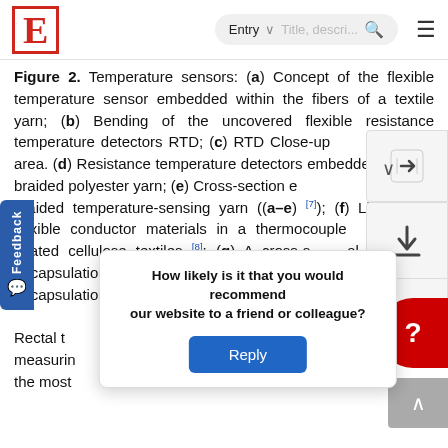E  [search bar: Entry | Title, descri...] [hamburger]
Figure 2. Temperature sensors: (a) Concept of the flexible temperature sensor embedded within the fibers of a textile yarn; (b) Bending of the uncovered flexible resistance temperature detectors RTD; (c) RTD Close-up [g area. (d) Resistance temperature detectors embedded within a braided polyester yarn; (e) Cross-section [e] braided temperature-sensing yarn ((a–e) [7]); (f) Lightweight flexible conductor materials in a thermocouple [y] copper-coated cellulose textiles [8]; (g) A cross-s[ectional] ematic of encapsulation for a thermistor within a yarn. standard encapsulation is composed of three [l] a mer [...]  [9]. Rectal t[...] t[...] or measurin[g] [...] g [...] as the most [...] [64]. It has